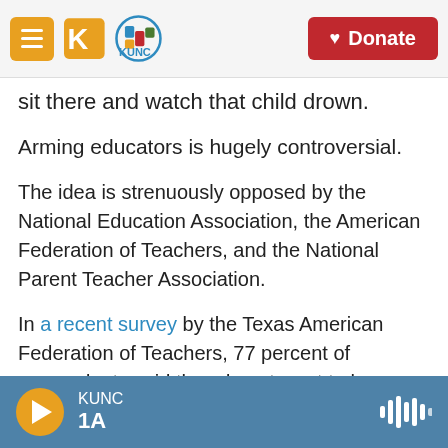KUNC — Donate
sit there and watch that child drown.
Arming educators is hugely controversial.
The idea is strenuously opposed by the National Education Association, the American Federation of Teachers, and the National Parent Teacher Association.
In a recent survey by the Texas American Federation of Teachers, 77 percent of respondents said they do not want to have a gun.
"Trying to arm teachers is risky and
KUNC 1A